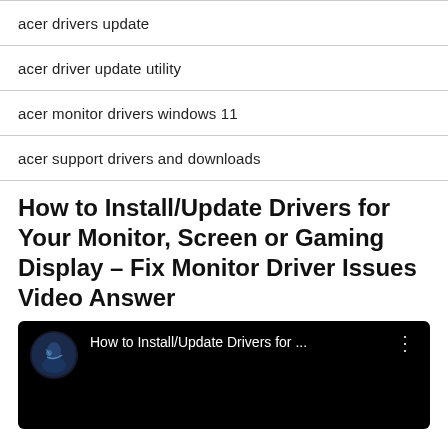acer drivers update
acer driver update utility
acer monitor drivers windows 11
acer support drivers and downloads
How to Install/Update Drivers for Your Monitor, Screen or Gaming Display – Fix Monitor Driver Issues Video Answer
[Figure (screenshot): YouTube video thumbnail showing 'How to Install/Update Drivers for ...' with a dark background, circular avatar of a person in blue tones, and a three-dot menu icon]